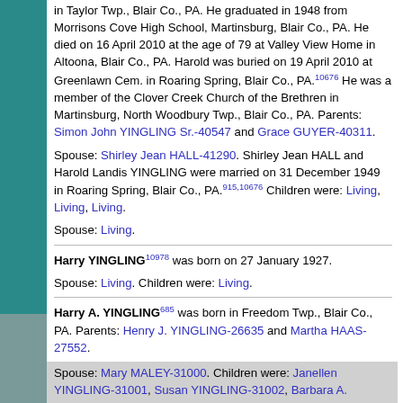in Taylor Twp., Blair Co., PA. He graduated in 1948 from Morrisons Cove High School, Martinsburg, Blair Co., PA. He died on 16 April 2010 at the age of 79 at Valley View Home in Altoona, Blair Co., PA. Harold was buried on 19 April 2010 at Greenlawn Cem. in Roaring Spring, Blair Co., PA.10676 He was a member of the Clover Creek Church of the Brethren in Martinsburg, North Woodbury Twp., Blair Co., PA. Parents: Simon John YINGLING Sr.-40547 and Grace GUYER-40311.
Spouse: Shirley Jean HALL-41290. Shirley Jean HALL and Harold Landis YINGLING were married on 31 December 1949 in Roaring Spring, Blair Co., PA.915,10676 Children were: Living, Living, Living.
Spouse: Living.
Harry YINGLING10978 was born on 27 January 1927.
Spouse: Living. Children were: Living.
Harry A. YINGLING685 was born in Freedom Twp., Blair Co., PA. Parents: Henry J. YINGLING-26635 and Martha HAAS-27552.
Spouse: Mary MALEY-31000. Children were: Janellen YINGLING-31001, Susan YINGLING-31002, Barbara A. YINGLING-31003, Mary M. YINGLING-31004, John Henry YINGLING-31005.